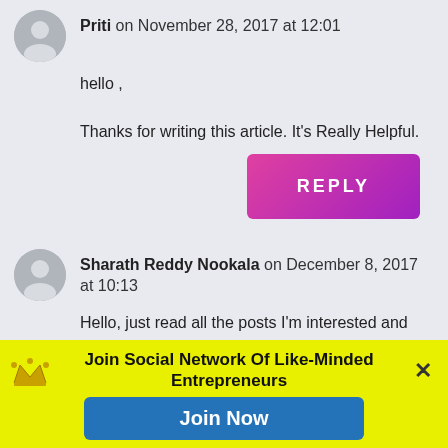Priti on November 28, 2017 at 12:01
hello ,

Thanks for writing this article. It's Really Helpful.
REPLY
Sharath Reddy Nookala on December 8, 2017 at 10:13
Hello, just read all the posts I'm interested and planning to set up E-Waste procurement company! Can you please help me with the proper steps, which are to be followed! And any other details would be really helpful.

Regards,
Join Social Network Of Like-Minded Entrepreneurs
Join Now